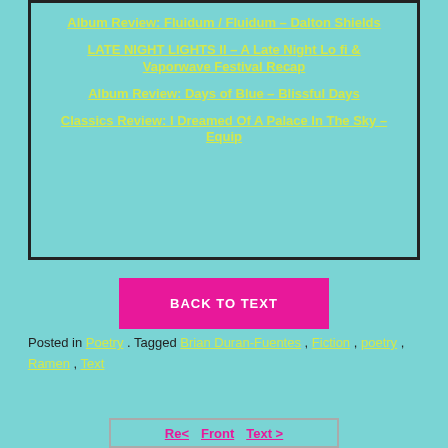Album Review: Fluidum / Fluidum – Dalton Shields
LATE NIGHT LIGHTS II – A Late Night Lo fi & Vaporwave Festival Recap
Album Review: Days of Blue – Blissful Days
Classics Review: I Dreamed Of A Palace In The Sky – Equip
BACK TO TEXT
Posted in Poetry . Tagged Brian Duran-Fuentes , Fiction , poetry , Ramen , Text